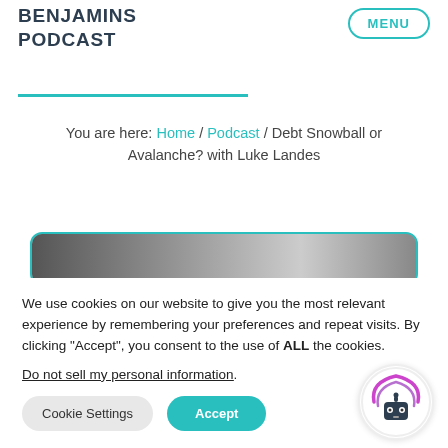BENJAMINS PODCAST
You are here: Home / Podcast / Debt Snowball or Avalanche? with Luke Landes
[Figure (photo): Podcast episode thumbnail image, partially visible, with teal border]
We use cookies on our website to give you the most relevant experience by remembering your preferences and repeat visits. By clicking "Accept", you consent to the use of ALL the cookies.
Do not sell my personal information.
Cookie Settings   Accept